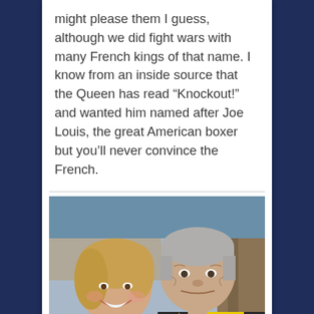might please them I guess, although we did fight wars with many French kings of that name. I know from an inside source that the Queen has read “Knockout!” and wanted him named after Joe Louis, the great American boxer but you’ll never convince the French.
[Figure (photo): A smiling woman with blonde hair wearing a light blue top stands next to an older man with grey hair wearing a yellow and black jacket. They are posing together outdoors near a stone wall.]